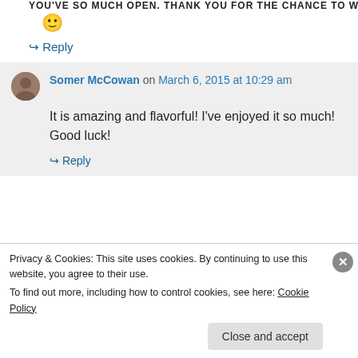😊
↪ Reply
Somer McCowan on March 6, 2015 at 10:29 am
It is amazing and flavorful! I've enjoyed it so much! Good luck!
↪ Reply
Privacy & Cookies: This site uses cookies. By continuing to use this website, you agree to their use.
To find out more, including how to control cookies, see here: Cookie Policy
Close and accept